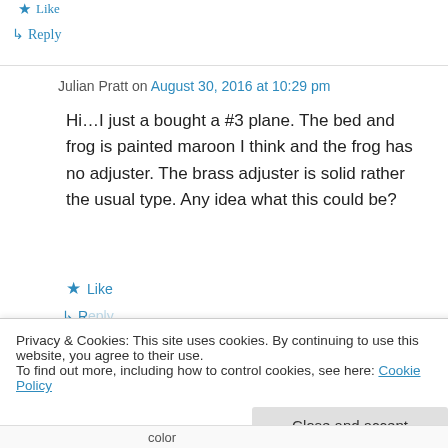★ Like
↳ Reply
Julian Pratt on August 30, 2016 at 10:29 pm
Hi…I just a bought a #3 plane. The bed and frog is painted maroon I think and the frog has no adjuster. The brass adjuster is solid rather the usual type. Any idea what this could be?
★ Like
Privacy & Cookies: This site uses cookies. By continuing to use this website, you agree to their use.
To find out more, including how to control cookies, see here: Cookie Policy
Close and accept
color